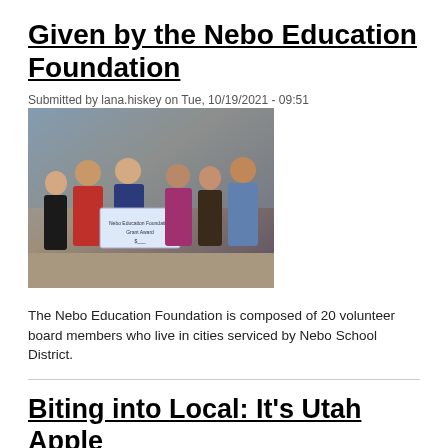Given by the Nebo Education Foundation
Submitted by lana.hiskey on Tue, 10/19/2021 - 09:51
[Figure (photo): Group photo of six people standing together holding a large check from the Nebo Education Foundation]
The Nebo Education Foundation is composed of 20 volunteer board members who live in cities serviced by Nebo School District.
Biting into Local: It's Utah Apple Season. The...